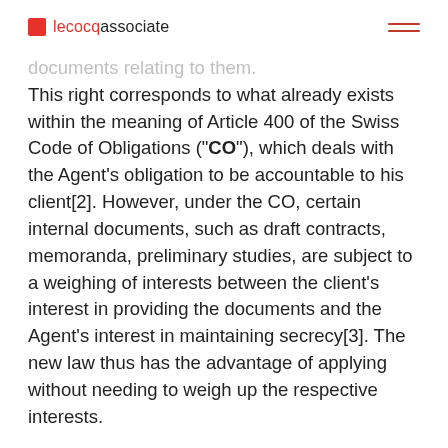lecocqassociate
This right corresponds to what already exists within the meaning of Article 400 of the Swiss Code of Obligations ("CO"), which deals with the Agent's obligation to be accountable to his client[2]. However, under the CO, certain internal documents, such as draft contracts, memoranda, preliminary studies, are subject to a weighing of interests between the client's interest in providing the documents and the Agent's interest in maintaining secrecy[3]. The new law thus has the advantage of applying without needing to weigh up the respective interests.
The aim of the new regulation is to improve client protection in the Swiss financial market, while strengthening the competitiveness of the Swiss